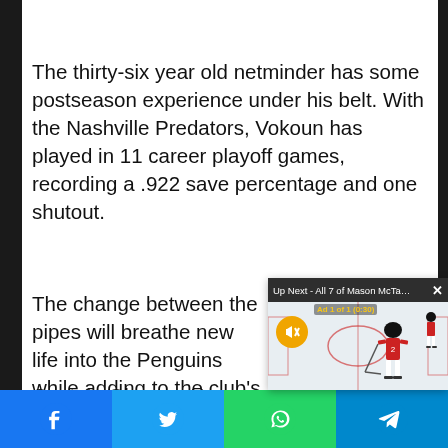The thirty-six year old netminder has some postseason experience under his belt. With the Nashville Predators, Vokoun has played in 11 career playoff games, recording a .922 save percentage and one shutout.
The change between the pipes will breathe new life into the Penguins while adding to the club's confidence.
[Figure (screenshot): Video overlay popup showing 'Up Next - All 7 of Mason McTavish's Rou...' with a hockey game thumbnail featuring a player in a Canada jersey, a mute button, and an ad indicator]
Contain Okposo: Ky
[Figure (other): Social media share bar with Facebook, Twitter, WhatsApp, and Telegram buttons]